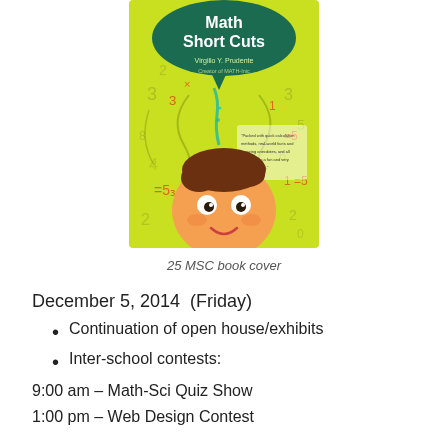[Figure (illustration): Book cover of 'Math Short Cuts' by Virgilio Y. Prudente, Creator of MATH-Inic. Features a cartoon child with numbers floating around, yellow-green background, dark green speech bubble at top with title text.]
25 MSC book cover
December 5, 2014  (Friday)
Continuation of open house/exhibits
Inter-school contests:
9:00 am – Math-Sci Quiz Show
1:00 pm – Web Design Contest